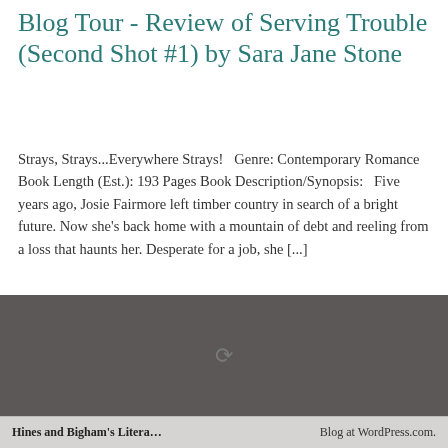Blog Tour - Review of Serving Trouble (Second Shot #1) by Sara Jane Stone
Strays, Strays...Everywhere Strays!   Genre: Contemporary Romance Book Length (Est.): 193 Pages Book Description/Synopsis:   Five years ago, Josie Fairmore left timber country in search of a bright future. Now she's back home with a mountain of debt and reeling from a loss that haunts her. Desperate for a job, she [...]
[Figure (other): Dark grey loading/placeholder image area with a small spinner icon in the center]
Hines and Bigham's Litera...    Blog at WordPress.com.